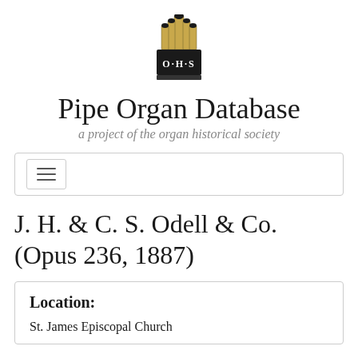[Figure (logo): OHS Organ Historical Society logo showing pipe organ pipes above a rectangular base with O·H·S text]
Pipe Organ Database
a project of the organ historical society
J. H. & C. S. Odell & Co. (Opus 236, 1887)
Location:
St. James Episcopal Church